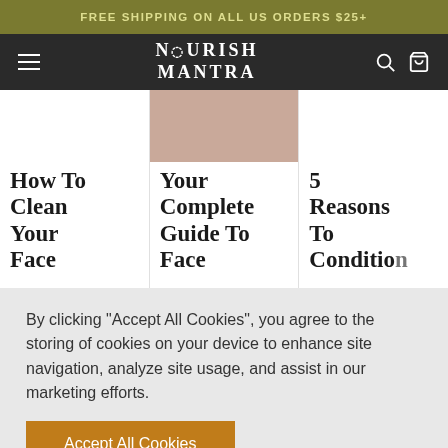FREE SHIPPING ON ALL US ORDERS $25+
[Figure (screenshot): Nourish Mantra website navigation bar with hamburger menu, logo, search and cart icons]
[Figure (screenshot): Three article card thumbnails: How To Clean Your Face, Your Complete Guide To Face, 5 Reasons To Condition]
By clicking “Accept All Cookies”, you agree to the storing of cookies on your device to enhance site navigation, analyze site usage, and assist in our marketing efforts.
Accept All Cookies